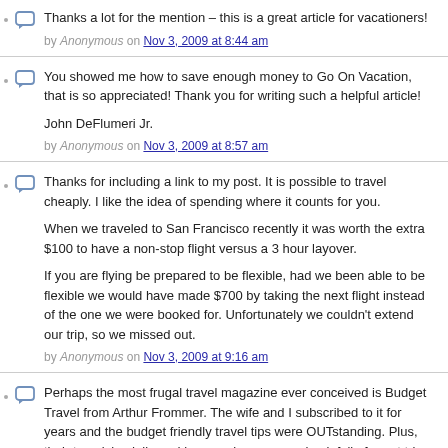Thanks a lot for the mention – this is a great article for vacationers!
by Anonymous on Nov 3, 2009 at 8:44 am
You showed me how to save enough money to Go On Vacation, that is so appreciated! Thank you for writing such a helpful article!
John DeFlumeri Jr.
by Anonymous on Nov 3, 2009 at 8:57 am
Thanks for including a link to my post. It is possible to travel cheaply. I like the idea of spending where it counts for you.
When we traveled to San Francisco recently it was worth the extra $100 to have a non-stop flight versus a 3 hour layover.
If you are flying be prepared to be flexible, had we been able to be flexible we would have made $700 by taking the next flight instead of the one we were booked for. Unfortunately we couldn't extend our trip, so we missed out.
by Anonymous on Nov 3, 2009 at 9:16 am
Perhaps the most frugal travel magazine ever conceived is Budget Travel from Arthur Frommer. The wife and I subscribed to it for years and the budget friendly travel tips were OUTstanding. Plus, their top picks delivered in every issue were chock full of great trip ideas.
What's neat is that if we want to go to say Ireland, we can look back at this